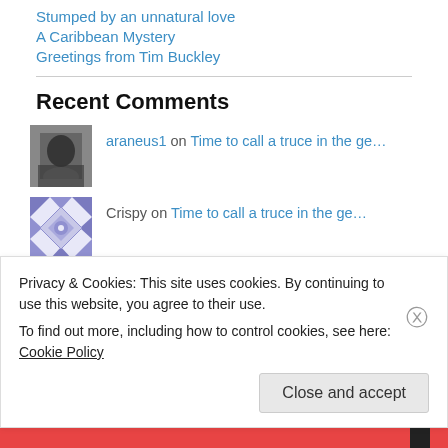Stumped by an unnatural love
A Caribbean Mystery
Greetings from Tim Buckley
Recent Comments
araneus1 on Time to call a truce in the ge…
Crispy on Time to call a truce in the ge…
araneus1 on Mr and Mrs Murder
Privacy & Cookies: This site uses cookies. By continuing to use this website, you agree to their use.
To find out more, including how to control cookies, see here: Cookie Policy
Close and accept